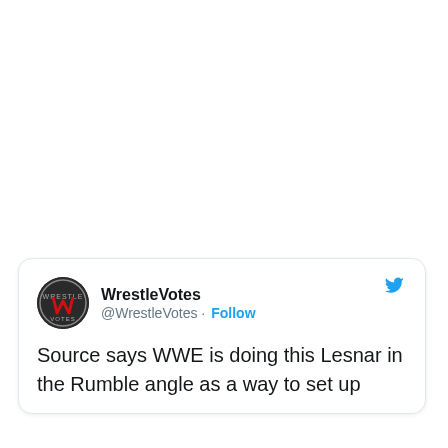[Figure (screenshot): Tweet card from WrestleVotes (@WrestleVotes) with Follow button and Twitter bird icon. Text reads: 'Source says WWE is doing this Lesnar in the Rumble angle as a way to set up [text cut off]']